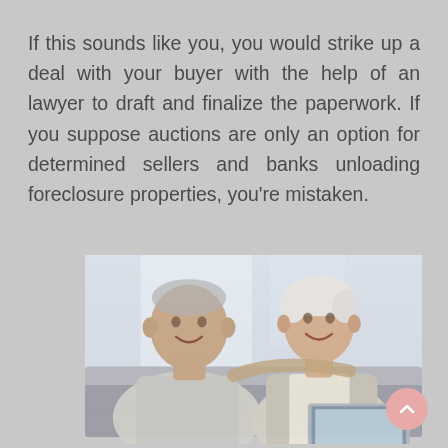If this sounds like you, you would strike up a deal with your buyer with the help of an lawyer to draft and finalize the paperwork. If you suppose auctions are only an option for determined sellers and banks unloading foreclosure properties, you’re mistaken.
[Figure (photo): An elderly couple, a man and a woman, sitting together smiling. The man is on the left wearing a light grey short-sleeve shirt, and the woman is on the right with short white/blonde hair wearing a light cardigan. They appear to be sitting on a couch with a laptop, in a bright room.]